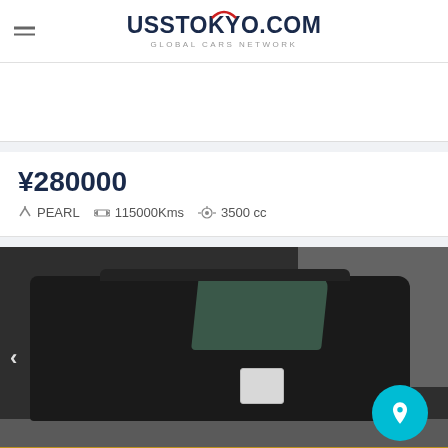USS TOKYO.COM GLOBAL CARS NETWORK
¥280000
PEARL  115000Kms  3500 cc
[Figure (photo): Dark/black boxy mini van or kei car photographed at a Japanese auction yard, front-left 3/4 angle, with navigation arrow on left and a teal rocket/launch button on the right.]